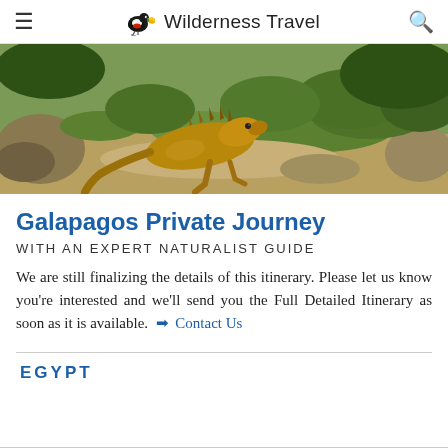≡   Wilderness Travel   🔍
[Figure (photo): A land iguana resting on rocky terrain with green grass and scrubby vegetation in the Galapagos Islands.]
Galapagos Private Journey
WITH AN EXPERT NATURALIST GUIDE
We are still finalizing the details of this itinerary. Please let us know you're interested and we'll send you the Full Detailed Itinerary as soon as it is available.  ➔ Contact Us
EGYPT